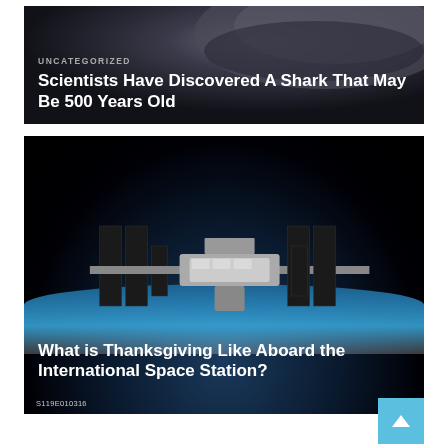[Figure (photo): Dark close-up image of a shark with overlaid text card showing 'UNCATEGORIZED' category and article title]
UNCATEGORIZED
Scientists Have Discovered A Shark That May Be 500 Years Old
[Figure (photo): NASA photograph of the International Space Station in orbit above Earth, with article title overlaid. Photo credit S119E010316.]
What is Thanksgiving Like Aboard the International Space Station?
S119E010316